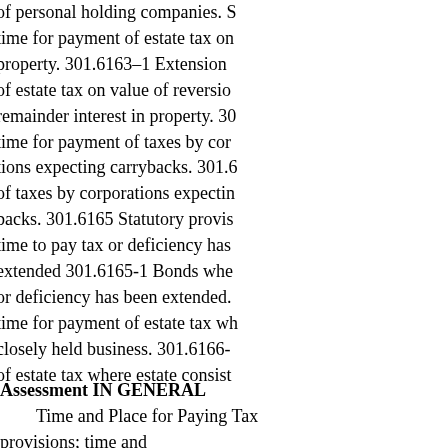of personal holding companies. S time for payment of estate tax on property. 301.6163–1 Extension of estate tax on value of reversion remainder interest in property. 30 time for payment of taxes by cor tions expecting carrybacks. 301.6 of taxes by corporations expectin backs. 301.6165 Statutory provis time to pay tax or deficiency has extended 301.6165-1 Bonds whe or deficiency has been extended. time for payment of estate tax wh closely held business. 301.6166- of estate tax where estate consist
Assessment IN GENERAL
Time and Place for Paying Tax provisions; time and